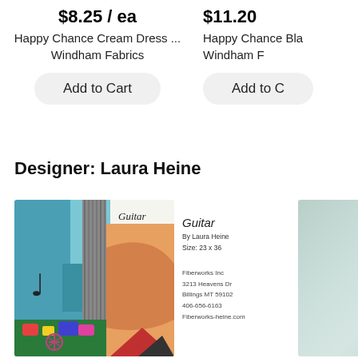$8.25 / ea
Happy Chance Cream Dress ...
Windham Fabrics
Add to Cart
$11.20
Happy Chance Bla...
Windham F...
Add to C...
Designer: Laura Heine
[Figure (photo): Guitar quilt pattern product image with colorful collage guitar artwork]
[Figure (photo): Partially visible blurred product image on the right side]